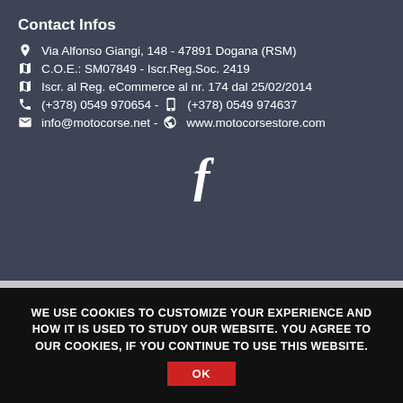Contact Infos
Via Alfonso Giangi, 148 - 47891 Dogana (RSM)
C.O.E.: SM07849 - Iscr.Reg.Soc. 2419
Iscr. al Reg. eCommerce al nr. 174 dal 25/02/2014
(+378) 0549 970654 - (+378) 0549 974637
info@motocorse.net - www.motocorsestore.com
[Figure (logo): Facebook icon (letter f) centered on dark background]
WE USE COOKIES TO CUSTOMIZE YOUR EXPERIENCE AND HOW IT IS USED TO STUDY OUR WEBSITE. YOU AGREE TO OUR COOKIES, IF YOU CONTINUE TO USE THIS WEBSITE.
OK